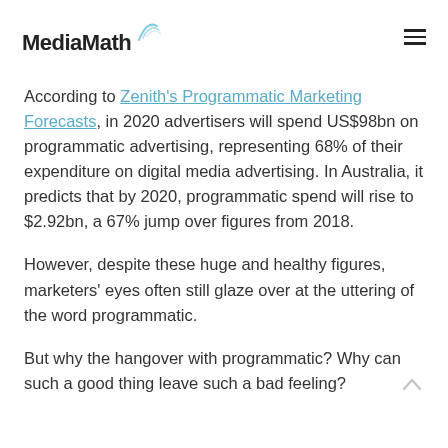MediaMath
According to Zenith's Programmatic Marketing Forecasts, in 2020 advertisers will spend US$98bn on programmatic advertising, representing 68% of their expenditure on digital media advertising. In Australia, it predicts that by 2020, programmatic spend will rise to $2.92bn, a 67% jump over figures from 2018.
However, despite these huge and healthy figures, marketers' eyes often still glaze over at the uttering of the word programmatic.
But why the hangover with programmatic? Why can such a good thing leave such a bad feeling?